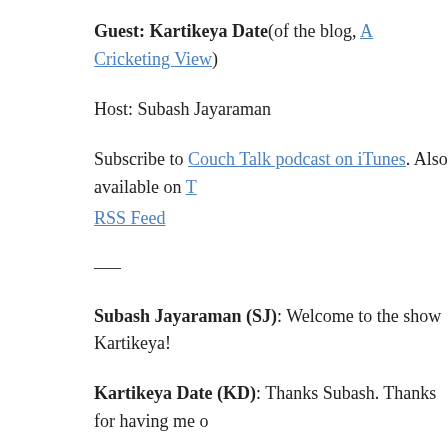Guest: Kartikeya Date(of the blog, A Cricketing View)
Host: Subash Jayaraman
Subscribe to Couch Talk podcast on iTunes. Also available on T
RSS Feed
–—
Subash Jayaraman (SJ): Welcome to the show Kartikeya!
Kartikeya Date (KD): Thanks Subash. Thanks for having me o
SJ: Pleasure.
You have spent quite a bit of space talking about T20, IPL, Lim your blog) and you have tried to make a case that T20 is actuall